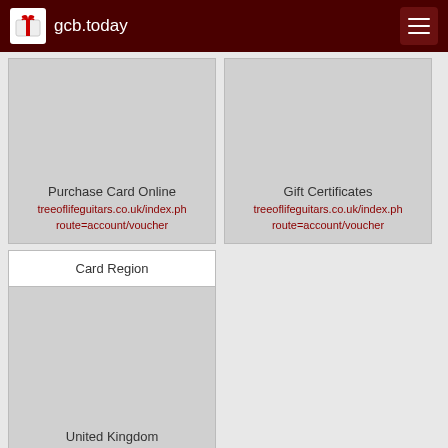gcb.today
[Figure (screenshot): Purchase Card Online card tile with link treeoflifeguitars.co.uk/index.ph route=account/voucher]
[Figure (screenshot): Gift Certificates card tile with link treeoflifeguitars.co.uk/index.ph route=account/voucher]
Card Region
[Figure (screenshot): United Kingdom card tile with Explore Other Cards link]